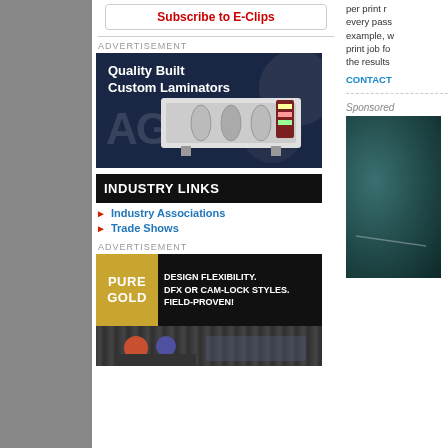[Figure (other): Gray sidebar on the left]
Subscribe to E-Clips
ADVERTISEMENT
[Figure (photo): AGL advertisement for Quality Built Custom Laminators showing laminator machine on dark blue background]
INDUSTRY LINKS
Industry Associations
Trade Shows
ADVERTISEMENT
[Figure (photo): Pure Gold advertisement: DESIGN FLEXIBILITY. DFX OR CAM-LOCK STYLES. FIELD-PROVEN! with photo of workers]
per print r... every pass... example, w... print job fo... the results...
CONTACT
Sponsored
[Figure (photo): Sponsored image with dark teal/green textured surface]